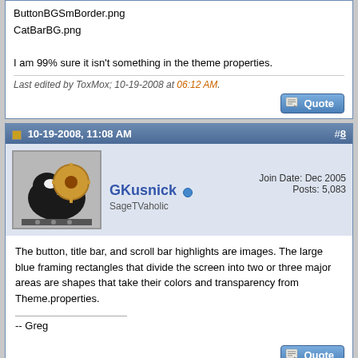ButtonBGSmBorder.png
CatBarBG.png

I am 99% sure it isn't something in the theme properties.
Last edited by ToxMox; 10-19-2008 at 06:12 AM.
[Figure (screenshot): Quote button]
10-19-2008, 11:08 AM
#8
[Figure (photo): GKusnick avatar - skunk with gear]
Join Date: Dec 2005
Posts: 5,083
GKusnick
SageTVaholic
The button, title bar, and scroll bar highlights are images. The large blue framing rectangles that divide the screen into two or three major areas are shapes that take their colors and transparency from Theme.properties.
-- Greg
[Figure (screenshot): Quote button]
10-19-2008, 11:18 AM
#9
Join Date: Feb 2004
Posts: 3,359